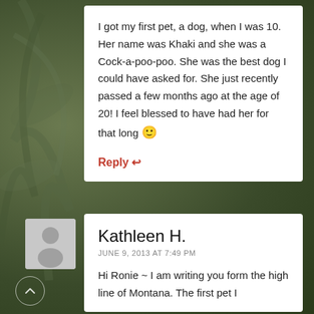I got my first pet, a dog, when I was 10. Her name was Khaki and she was a Cock-a-poo-poo. She was the best dog I could have asked for. She just recently passed a few months ago at the age of 20! I feel blessed to have had her for that long 🙂
Reply ↩
[Figure (illustration): Avatar placeholder showing silhouette of a person, gray square with rounded corners]
Kathleen H.
JUNE 9, 2013 AT 7:49 PM
Hi Ronie ~ I am writing you form the high line of Montana. The first pet I